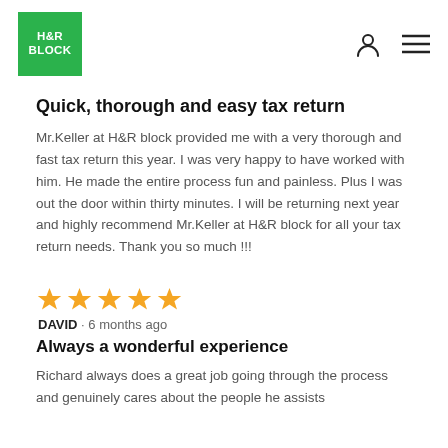[Figure (logo): H&R Block green logo]
Quick, thorough and easy tax return
Mr.Keller at H&R block provided me with a very thorough and fast tax return this year. I was very happy to have worked with him. He made the entire process fun and painless. Plus I was out the door within thirty minutes. I will be returning next year and highly recommend Mr.Keller at H&R block for all your tax return needs. Thank you so much !!!
[Figure (infographic): 5 gold star rating]
DAVID · 6 months ago
Always a wonderful experience
Richard always does a great job going through the process and genuinely cares about the people he assists